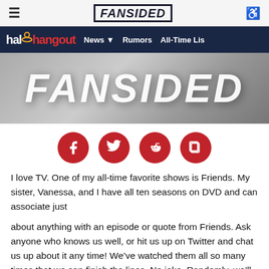FANSIDED
halo hangout  News  Rumors  All-Time Li...
[Figure (photo): FANSIDED banner image in gray/white tones with large italic text 'FANSIDED']
[Figure (infographic): Four red circular social media share buttons: Facebook, Twitter, Reddit, and copy/share]
I love TV. One of my all-time favorite shows is Friends. My sister, Vanessa, and I have all ten seasons on DVD and can associate just
about anything with an episode or quote from Friends. Ask anyone who knows us well, or hit us up on Twitter and chat us up about it any time! We've watched them all so many times that we can finish the lines. No joke. Randomly, we'll even begin to cite something and the other will finish it. If I've said something witty, chances are I heard it or some comparable facsimile from